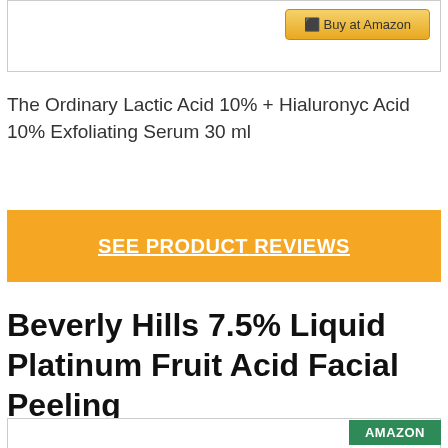[Figure (screenshot): Top portion of a product listing box with a 'Buy at Amazon' button (gold/yellow gradient) in the upper right corner]
The Ordinary Lactic Acid 10% + Hialuronyc Acid 10% Exfoliating Serum 30 ml
SEE PRODUCT REVIEWS
Beverly Hills 7.5% Liquid Platinum Fruit Acid Facial Peeling
[Figure (screenshot): Bottom portion of a product listing box with a green 'AMAZON' button in the upper right corner]